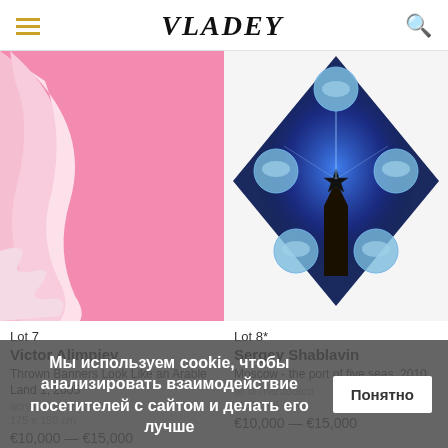VLADEY
[Figure (photo): Abstract pink painting with white silhouette/figure against pink background – Lot 7]
[Figure (photo): Diamond-shaped painting on dark blue background with a Kremlin tower topped by a star, surrounded by circular globe-like spheres – Lot 8]
Lot 7
Victor Alimpiev
Thrown Banners Look Like an Arable Land 1, 2005
acrylic on canvas
175 x 150 cm
€10,000 — €15,000
Lot 8*
Sergey Shablavin
Moscow - the port of five seas, 2010
oil on hardboard
66,4 x 66,4 cm
€10,000 — €15,000
Мы используем cookie, чтобы анализировать взаимодействие посетителей с сайтом и делать его лучше
Понятно